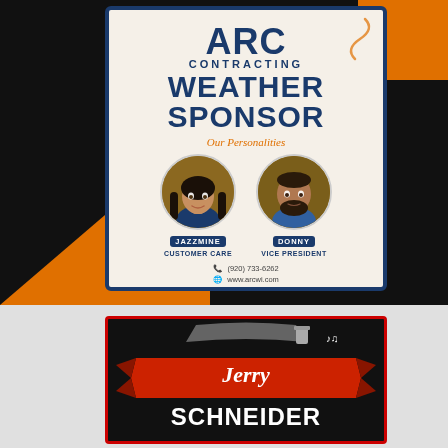[Figure (advertisement): ARC Contracting Weather Sponsor advertisement. Shows two circular photos of staff members: Jazzmine (Customer Care) and Donny (Vice President). Contact: (920) 733-6262, www.arcwi.com. Features orange and black geometric background with white card bordered in dark blue.]
[Figure (logo): Jerry Schneider logo on dark background with red ribbon banner. Script 'Jerry' above bold 'SCHNEIDER' text, with small illustrated icons (paint can, musical notes).]